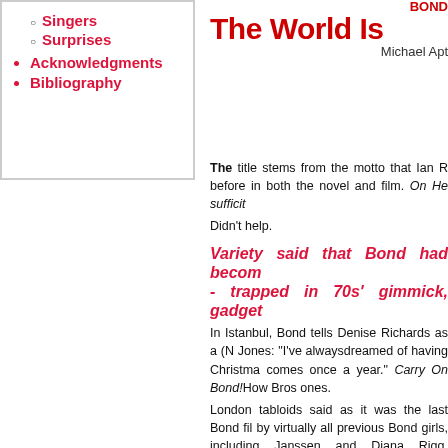Singers
Surprises
Acknowledgments
Bibliography
BOND The World Is... Michael Apt...
The title stems from the motto that Ian R... before in both the novel and film. On He... sufficit
Didn't help.
Variety said that Bond had becom... - trapped in 70s' gimmick, gadget...
In Istanbul, Bond tells Denise Richards as a (N... Jones: "I've alwaysdreamed of having Christma... comes once a year." Carry On Bond!How Bros... ones.
London tabloids said as it was the last Bond fil... by virtually all previous Bond girls, including... Janssen and Diana Rigg. Instead, the film... film for producer Michael G Wilson - as Ge... in every Bond since The Spy Who Loved M...
Elektra King . Sharon Stone and Cat... before French actress (and director)So... line:"There's no point living, if you can't f...
Alexander King . Billy Bob Thornton w... was to be a Texan and not Robert Golderr...